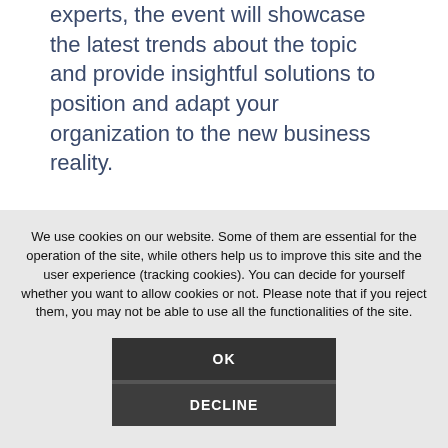experts, the event will showcase the latest trends about the topic and provide insightful solutions to position and adapt your organization to the new business reality.
We use cookies on our website. Some of them are essential for the operation of the site, while others help us to improve this site and the user experience (tracking cookies). You can decide for yourself whether you want to allow cookies or not. Please note that if you reject them, you may not be able to use all the functionalities of the site.